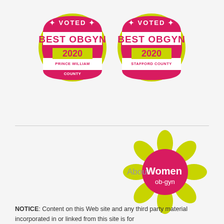[Figure (logo): Voted Best OBGYN 2020 Prince William County badge — circular badge with yellow-green border, red background, white text VOTED BEST OBGYN, yellow-green rectangle with red 2020, white text PRINCE WILLIAM COUNTY]
[Figure (logo): Voted Best OBGYN 2020 Stafford County badge — circular badge with yellow-green border, red background, white text VOTED BEST OBGYN, yellow-green rectangle with red 2020, white text STAFFORD COUNTY]
[Figure (logo): About Women ob-gyn logo — sunflower with yellow-green petals, red circle center with white text Women ob-gyn, gray text About to the left]
NOTICE: Content on this Web site and any third party material incorporated in or linked from this site is for